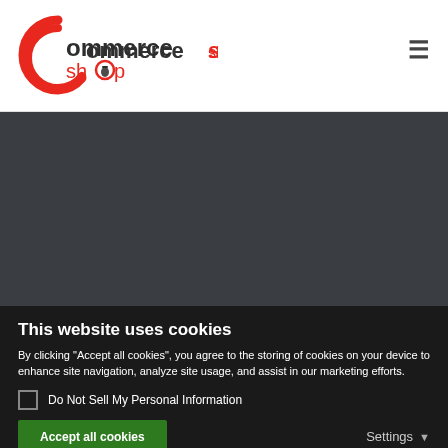[Figure (logo): CommerceShop logo with red C arc and shopping cart icon]
[Figure (screenshot): Dark gray content area / hero section of website]
This website uses cookies
By clicking "Accept all cookies", you agree to the storing of cookies on your device to enhance site navigation, analyze site usage, and assist in our marketing efforts.
Do Not Sell My Personal Information
Accept all cookies
Settings